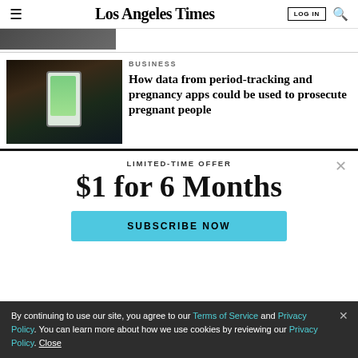Los Angeles Times
[Figure (photo): Partial view of a person from the top article, cropped at the bottom]
BUSINESS
How data from period-tracking and pregnancy apps could be used to prosecute pregnant people
[Figure (photo): Person holding a smartphone showing a green app screen]
LIMITED-TIME OFFER
$1 for 6 Months
SUBSCRIBE NOW
By continuing to use our site, you agree to our Terms of Service and Privacy Policy. You can learn more about how we use cookies by reviewing our Privacy Policy. Close